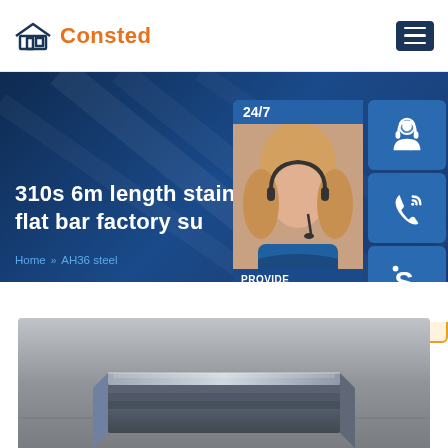[Figure (logo): Consted company logo with orange house icon and orange text]
310s 6m length stainless flat bar factory supply
Home >> AH36 steel
[Figure (infographic): 24/7 customer service panel with agent photo, headset icon, phone icon, Skype icon, and online live button. Text: PROVIDE, Empowering Customers]
[Figure (photo): Stainless steel flat bar product photo, metallic surface visible]